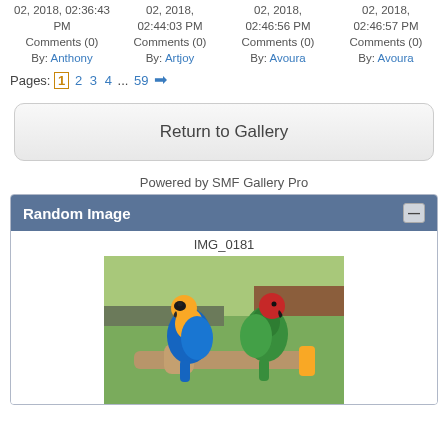02, 2018, 02:36:43 PM
Comments (0)
By: Anthony
02, 2018, 02:44:03 PM
Comments (0)
By: Artjoy
02, 2018, 02:46:56 PM
Comments (0)
By: Avoura
02, 2018, 02:46:57 PM
Comments (0)
By: Avoura
Pages: [1] 2 3 4 ... 59 →
Return to Gallery
Powered by SMF Gallery Pro
Random Image
IMG_0181
[Figure (photo): Two parrots perched on a wooden branch outdoors — a blue-and-yellow macaw on the left and a green-and-red macaw on the right, with trees and a structure in the background.]